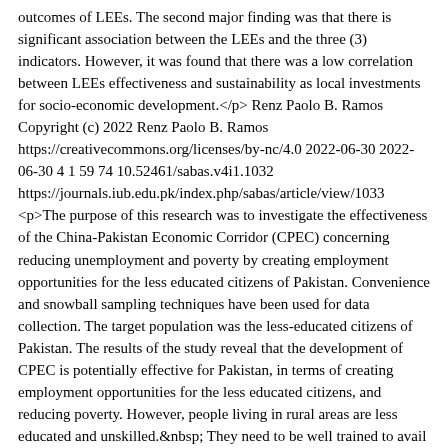outcomes of LEEs. The second major finding was that there is significant association between the LEEs and the three (3) indicators. However, it was found that there was a low correlation between LEEs effectiveness and sustainability as local investments for socio-economic development.</p> Renz Paolo B. Ramos Copyright (c) 2022 Renz Paolo B. Ramos https://creativecommons.org/licenses/by-nc/4.0 2022-06-30 2022-06-30 4 1 59 74 10.52461/sabas.v4i1.1032 https://journals.iub.edu.pk/index.php/sabas/article/view/1033 <p>The purpose of this research was to investigate the effectiveness of the China-Pakistan Economic Corridor (CPEC) concerning reducing unemployment and poverty by creating employment opportunities for the less educated citizens of Pakistan. Convenience and snowball sampling techniques have been used for data collection. The target population was the less-educated citizens of Pakistan. The results of the study reveal that the development of CPEC is potentially effective for Pakistan, in terms of creating employment opportunities for the less educated citizens, and reducing poverty. However, people living in rural areas are less educated and unskilled.&nbsp; They need to be well trained to avail of particular job opportunities. Hence, the research implies that the Government of Pakistan should introduce skills development and training programs for the less educated community of Pakistan to polish their skills for the particular job opportunities which arise due to different mega projects of national